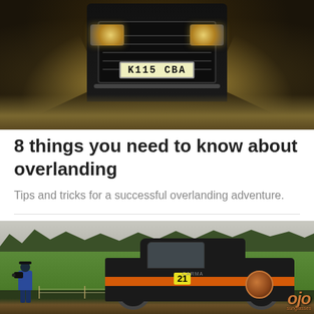[Figure (photo): Off-road vehicle (4x4) seen from front, license plate K115 CBA, spraying mud and dust as it drives through rough terrain. Dark, dramatic lighting.]
8 things you need to know about overlanding
Tips and tricks for a successful overlanding adventure.
[Figure (photo): A photographer on the left in a blue jacket photographs a black rally car (number 21, OJO sunglasses branding, orange accents) on muddy terrain with green fields and trees in the background.]